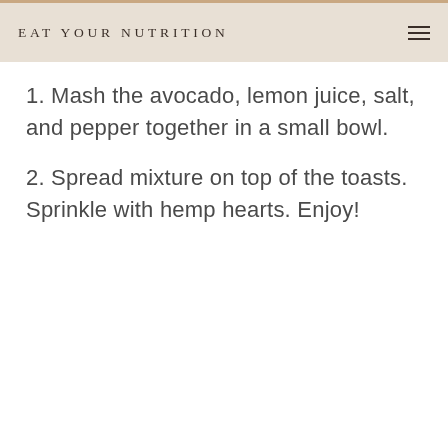EAT YOUR NUTRITION
1. Mash the avocado, lemon juice, salt, and pepper together in a small bowl.
2. Spread mixture on top of the toasts. Sprinkle with hemp hearts. Enjoy!